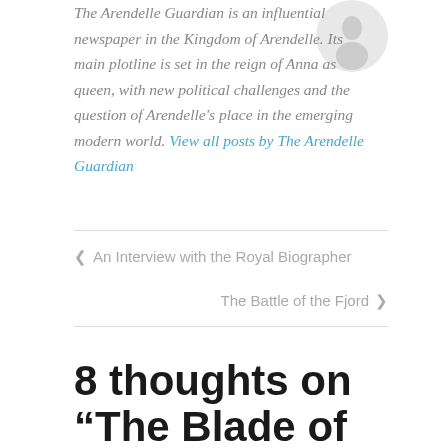The Arendelle Guardian is an influential newspaper in the Kingdom of Arendelle. Its main plotline is set in the reign of Anna as queen, with new political challenges and the question of Arendelle's place in the emerging modern world. View all posts by The Arendelle Guardian
< An Interview with the Royal Biographer
The Battle of the Fjord >
8 thoughts on “The Blade of Elsa and the Siege of Arendelle”